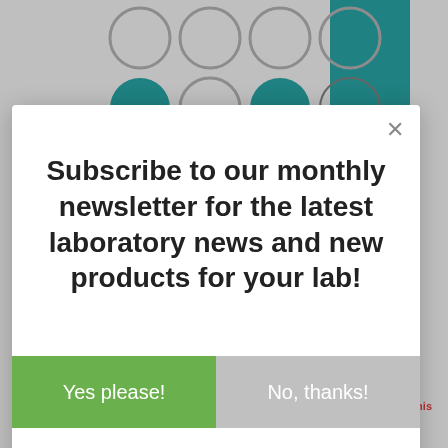[Figure (screenshot): Background page showing a grid of circles (some teal, some grey, some white) and a teal vertical bar, partially visible behind a modal dialog overlay.]
Subscribe to our monthly newsletter for the latest laboratory news and new products for your lab!
Yes please!
No, thanks!
AddThis
Translate